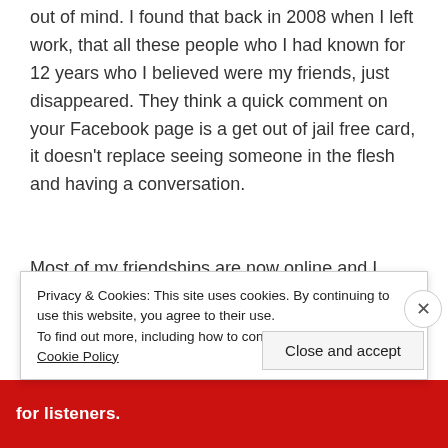out of mind. I found that back in 2008 when I left work, that all these people who I had known for 12 years who I believed were my friends, just disappeared. They think a quick comment on your Facebook page is a get out of jail free card, it doesn't replace seeing someone in the flesh and having a conversation.
Most of my friendships are now online and I have made some truly wonderful friends. Particularly on Instagram amongst the crafting / sewing / creative community. I am
Privacy & Cookies: This site uses cookies. By continuing to use this website, you agree to their use.
To find out more, including how to control cookies, see here: Cookie Policy
Close and accept
for listeners.